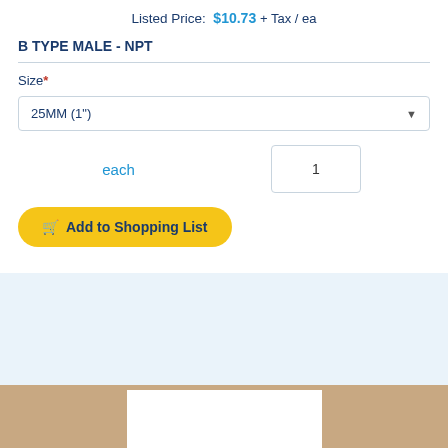Listed Price: $10.73 + Tax / ea
B TYPE MALE - NPT
Size*
25MM (1")
each
1
Add to Shopping List
[Figure (photo): Product photo partially visible at the bottom of the page, showing a wooden background with a white inset area.]